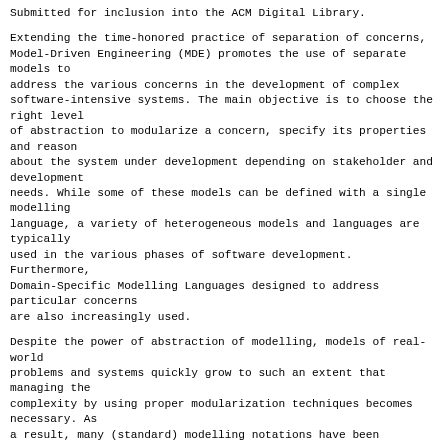Submitted for inclusion into the ACM Digital Library.
Extending the time-honored practice of separation of concerns,
Model-Driven Engineering (MDE) promotes the use of separate models to
address the various concerns in the development of complex
software-intensive systems. The main objective is to choose the right level
of abstraction to modularize a concern, specify its properties and reason
about the system under development depending on stakeholder and development
needs. While some of these models can be defined with a single modelling
language, a variety of heterogeneous models and languages are typically
used in the various phases of software development. Furthermore,
Domain-Specific Modelling Languages designed to address particular concerns
are also increasingly used.
Despite the power of abstraction of modelling, models of real-world
problems and systems quickly grow to such an extent that managing the
complexity by using proper modularization techniques becomes necessary. As
a result, many (standard) modelling notations have been